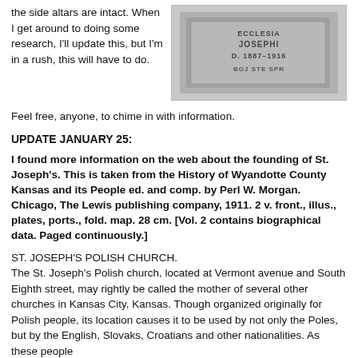the side altars are intact. When I get around to doing some research, I'll update this, but I'm in a rush, this will have to do.
[Figure (photo): A stone monument or cornerstone with carved text reading: ECCLESIA JOSEPHI D. 1887-1916 BOJ STE SPR]
Feel free, anyone, to chime in with information.
UPDATE JANUARY 25:
I found more information on the web about the founding of St. Joseph's. This is taken from the History of Wyandotte County Kansas and its People ed. and comp. by Perl W. Morgan. Chicago, The Lewis publishing company, 1911. 2 v. front., illus., plates, ports., fold. map. 28 cm. [Vol. 2 contains biographical data. Paged continuously.]
ST. JOSEPH'S POLISH CHURCH.
The St. Joseph's Polish church, located at Vermont avenue and South Eighth street, may rightly be called the mother of several other churches in Kansas City, Kansas. Though organized originally for Polish people, its location causes it to be used by not only the Poles, but by the English, Slovaks, Croatians and other nationalities. As these people